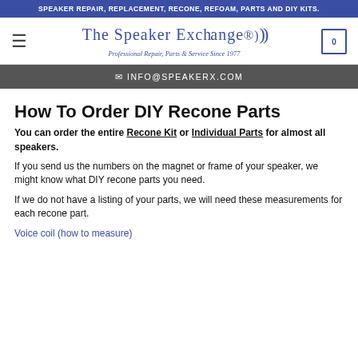SPEAKER REPAIR, REPLACEMENT, RECONE, REFOAM, PARTS AND DIY KITS.
[Figure (logo): The Speaker Exchange logo with sound wave icon and tagline 'Professional Repair, Parts & Service Since 1977']
INFO@SPEAKERX.COM
How To Order DIY Recone Parts
You can order the entire Recone Kit or Individual Parts for almost all speakers.
If you send us the numbers on the magnet or frame of your speaker, we might know what DIY recone parts you need.
If we do not have a listing of your parts, we will need these measurements for each recone part.
Voice coil (how to measure)